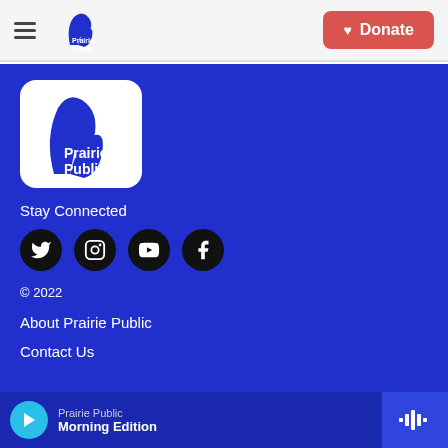Prairie Public — navigation header with Donate button
[Figure (logo): Prairie Public logo — white rounded square with blue bird/flame shape and 'Prairie Public' text]
Stay Connected
[Figure (infographic): Social media icons: Twitter, Instagram, YouTube, Facebook — black circles]
© 2022
About Prairie Public
Contact Us
Prairie Public — Morning Edition — audio player bar